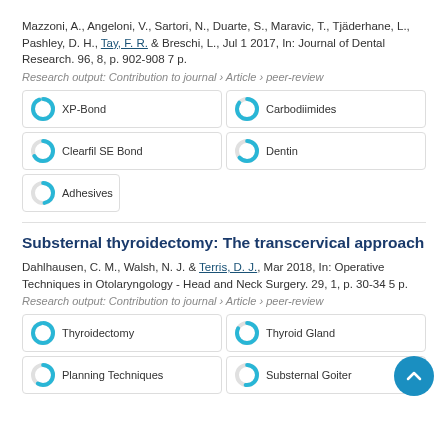Mazzoni, A., Angeloni, V., Sartori, N., Duarte, S., Maravic, T., Tjäderhane, L., Pashley, D. H., Tay, F. R. & Breschi, L., Jul 1 2017, In: Journal of Dental Research. 96, 8, p. 902-908 7 p.
Research output: Contribution to journal › Article › peer-review
XP-Bond
Carbodiimides
Clearfil SE Bond
Dentin
Adhesives
Substernal thyroidectomy: The transcervical approach
Dahlhausen, C. M., Walsh, N. J. & Terris, D. J., Mar 2018, In: Operative Techniques in Otolaryngology - Head and Neck Surgery. 29, 1, p. 30-34 5 p.
Research output: Contribution to journal › Article › peer-review
Thyroidectomy
Thyroid Gland
Planning Techniques
Substernal Goiter